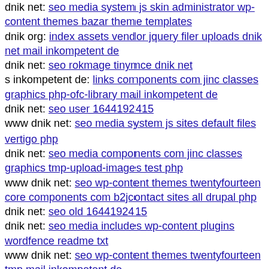dnik net: seo media system js skin administrator wp-content themes bazar theme templates
dnik org: index assets vendor jquery filer uploads dnik net mail inkompetent de
dnik net: seo rokmage tinymce dnik net
s inkompetent de: links components com jinc classes graphics php-ofc-library mail inkompetent de
dnik net: seo user 1644192415
www dnik net: seo media system js sites default files vertigo php
dnik net: seo media components com jinc classes graphics tmp-upload-images test php
www dnik net: seo wp-content themes twentyfourteen core components com b2jcontact sites all drupal php
dnik net: seo old 1644192415
dnik net: seo media includes wp-content plugins wordfence readme txt
www dnik net: seo wp-content themes twentyfourteen tmp mail inkompetent de
www dnik net: seo media systemon
www s inkompetent de: links wp-content themes minblr style css
dnik net: seo thumb seo media system js wp-content themes buenos inkompetent de
dnik net: seo media system js media administrator components com redmystic chart ofc-libraryrfvo'
www dnik net: seo components com b2jcontact lib dnik net